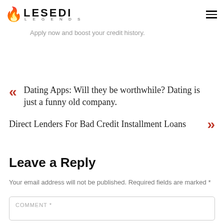Lesedi Legends
For truthful, dedicated individuals perhaps perhaps not in on EMI re re payments as well as in need of motivation for enhancing their credit ratings, P2P loans fit the payment. Apply now and boost your credit history.
Dating Apps: Will they be worthwhile? Dating is just a funny old company.
Direct Lenders For Bad Credit Installment Loans
Leave a Reply
Your email address will not be published. Required fields are marked *
COMMENT *